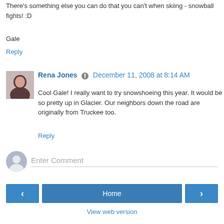There's something else you can do that you can't when skiing - snowball fights! :D
Gale
Reply
Rena Jones   December 11, 2008 at 8:14 AM
Cool Gale! I really want to try snowshoeing this year. It would be so pretty up in Glacier. Our neighbors down the road are originally from Truckee too.
Reply
Enter Comment
Home
View web version